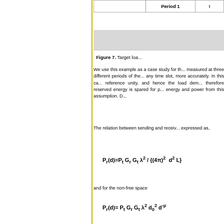[Figure (table-as-image): Partial view of a table with 'Period 1' column header visible, with a gray shaded area below]
Figure 7. Target loa...
We use this example as a case study for th... measured at three different periods of the... any time slot, more accurately. In this ca... reference unity, and hence the load dem... therefore reserved energy is spared for p... energy and power from this assumption. D...
The relation between sending and receiv... expressed as,
and for the non-free space